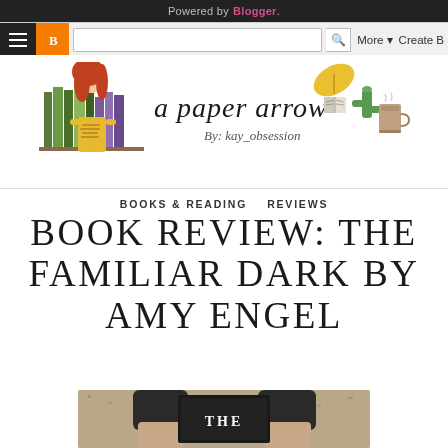Powered by Blogger.
[Figure (logo): A Paper Arrow blog logo with illustrated girl, books, and handwritten text 'a paper arrow by: kay_obsession']
BOOKS & READING   REVIEWS
BOOK REVIEW: THE FAMILIAR DARK BY AMY ENGEL
[Figure (photo): Hands holding a book, partially visible, with 'THE' text visible on book cover]